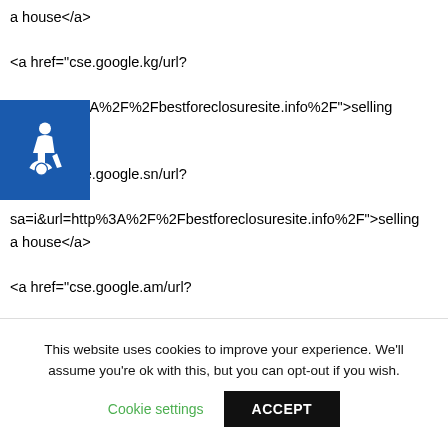a house</a>
<a href="cse.google.kg/url? &url=http%3A%2F%2Fbestforeclosuresite.info%2F">selling a house</a>
<a href="cse.google.sn/url? sa=i&url=http%3A%2F%2Fbestforeclosuresite.info%2F">selling a house</a>
<a href="cse.google.am/url? q=http%3A%2F%2Fbestforeclosuresite.info%2F">selling a house</a>
<a href="images.google.bj/url? q=https%3A%2F%2Fbestforeclosuresite.info%2F">selling a
This website uses cookies to improve your experience. We'll assume you're ok with this, but you can opt-out if you wish. Cookie settings ACCEPT